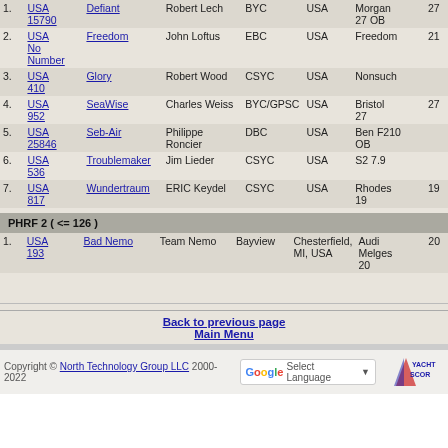| # | Sail | Boat Name | Skipper | Club | Country | Boat Type | PHRF |
| --- | --- | --- | --- | --- | --- | --- | --- |
| 1. | USA 15790 | Defiant | Robert Lech | BYC | USA | Morgan 27 OB | 27 |
| 2. | USA No Number | Freedom | John Loftus | EBC | USA | Freedom | 21 |
| 3. | USA 410 | Glory | Robert Wood | CSYC | USA | Nonsuch |  |
| 4. | USA 952 | SeaWise | Charles Weiss | BYC/GPSC | USA | Bristol 27 | 27 |
| 5. | USA 25846 | Seb-Air | Philippe Roncier | DBC | USA | Ben F210 OB |  |
| 6. | USA 536 | Troublemaker | Jim Lieder | CSYC | USA | S2 7.9 |  |
| 7. | USA 817 | Wundertraum | ERIC Keydel | CSYC | USA | Rhodes 19 | 19 |
PHRF 2 ( <= 126 )
| # | Sail | Boat Name | Skipper | Club | Country | Boat Type | PHRF |
| --- | --- | --- | --- | --- | --- | --- | --- |
| 1. | USA 193 | Bad Nemo | Team Nemo | Bayview | Chesterfield, MI, USA | Audi Melges 20 | 20 |
Back to previous page
Main Menu
Copyright © North Technology Group LLC 2000-2022